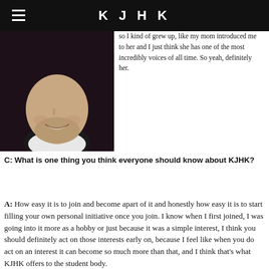KJHK
[Figure (photo): Cropped photo of a smiling young man wearing a white t-shirt, photographed against a dark background.]
so I kind of grew up, like my mom introduced me to her and I just think she has one of the most incredibly voices of all time. So yeah, definitely her.
C: What is one thing you think everyone should know about KJHK?
A: How easy it is to join and become apart of it and honestly how easy it is to start filling your own personal initiative once you join. I know when I first joined, I was going into it more as a hobby or just because it was a simple interest, I think you should definitely act on those interests early on, because I feel like when you do act on an interest it can become so much more than that, and I think that's what KJHK offers to the student body.